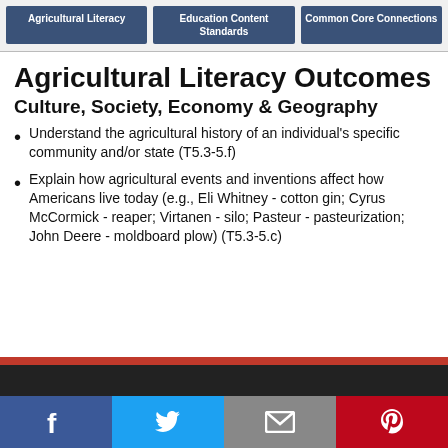Agricultural Literacy | Education Content Standards | Common Core Connections
Agricultural Literacy Outcomes
Culture, Society, Economy & Geography
Understand the agricultural history of an individual's specific community and/or state (T5.3-5.f)
Explain how agricultural events and inventions affect how Americans live today (e.g., Eli Whitney - cotton gin; Cyrus McCormick - reaper; Virtanen - silo; Pasteur - pasteurization; John Deere - moldboard plow) (T5.3-5.c)
Facebook | Twitter | Email | Pinterest